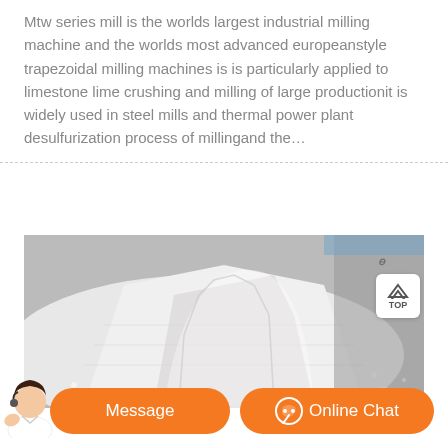Mtw series mill is the worlds largest industrial milling machine and the worlds most advanced europeanstyle trapezoidal milling machines is is particularly applied to limestone lime crushing and milling of large productionit is widely used in steel mills and thermal power plant desulfurization process of millingand the...
[Figure (photo): Photo of white crushed limestone or mineral granules in a large open bag/pile, with grey ground visible in the background. A 'TOP' navigation button overlay appears in the upper right of the image.]
Message
Online Chat